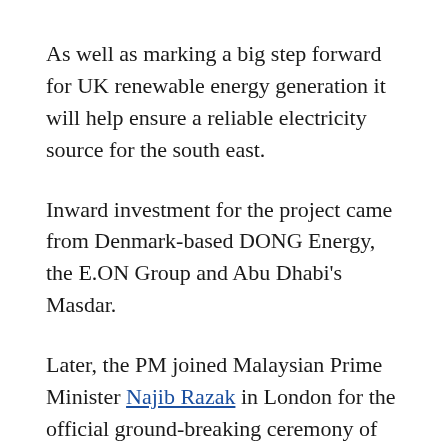As well as marking a big step forward for UK renewable energy generation it will help ensure a reliable electricity source for the south east.
Inward investment for the project came from Denmark-based DONG Energy, the E.ON Group and Abu Dhabi's Masdar.
Later, the PM joined Malaysian Prime Minister Najib Razak in London for the official ground-breaking ceremony of the 39-acre Battersea Power Station site redevelopment.
The long-awaited project will transform the area into a vibrant new neighbourhood and see the iconic Grade II listed power station fully restored and opened to the public 30 years after it was decommissioned.